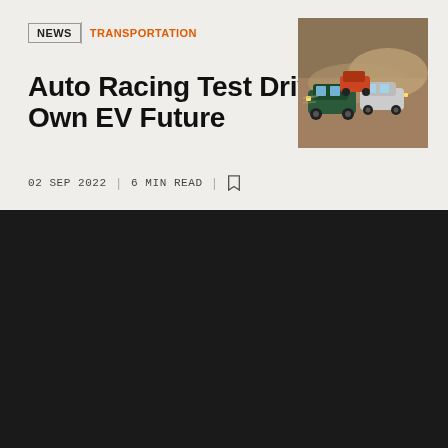NEWS | TRANSPORTATION
Auto Racing Test Drives Its Own EV Future
[Figure (photo): Racing cars competing on a dusty track, multiple colorful cars jostling for position with lights on]
02 SEP 2022  |  6 MIN READ  |  [bookmark icon]
IEEE websites place cookies on your device to give you the best user experience. By using our websites, you agree to the placement of these cookies. To learn more, read our Privacy Policy.
ACCEPT & CLOSE
VIEW PRIVACY POLICY